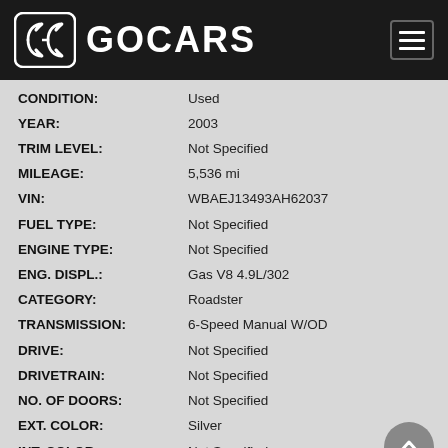[Figure (logo): GoCars logo with stylized double-C icon and GOCARS text on black header bar, with hamburger menu icon on the right]
| Field | Value |
| --- | --- |
| CONDITION: | Used |
| YEAR: | 2003 |
| TRIM LEVEL: | Not Specified |
| MILEAGE: | 5,536 mi |
| VIN: | WBAEJ13493AH62037 |
| FUEL TYPE: | Not Specified |
| ENGINE TYPE: | Not Specified |
| ENG. DISPL.: | Gas V8 4.9L/302 |
| CATEGORY: | Roadster |
| TRANSMISSION: | 6-Speed Manual W/OD |
| DRIVE: | Not Specified |
| DRIVETRAIN: | Not Specified |
| NO. OF DOORS: | Not Specified |
| EXT. COLOR: | Silver |
| INT. COLOR: | Not Specified |
| STOCK NO: | GP0863 |